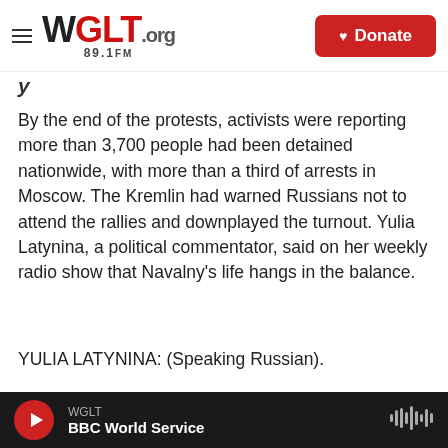WGLT.org 89.1FM | Donate
By the end of the protests, activists were reporting more than 3,700 people had been detained nationwide, with more than a third of arrests in Moscow. The Kremlin had warned Russians not to attend the rallies and downplayed the turnout. Yulia Latynina, a political commentator, said on her weekly radio show that Navalny's life hangs in the balance.
YULIA LATYNINA: (Speaking Russian).
KIM: She said only street protests in Russia and
WGLT
BBC World Service